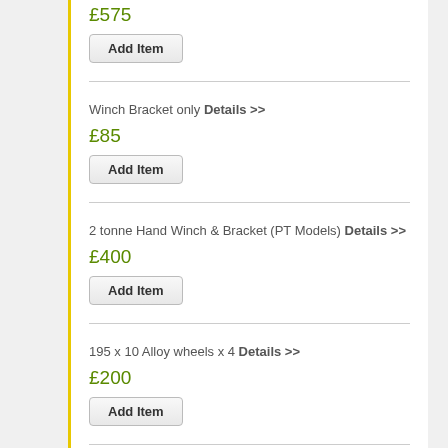£575
Add Item
Winch Bracket only Details >>
£85
Add Item
2 tonne Hand Winch & Bracket (PT Models) Details >>
£400
Add Item
195 x 10 Alloy wheels x 4 Details >>
£200
Add Item
Adjustable Front Wheel Chock Details >>
£85